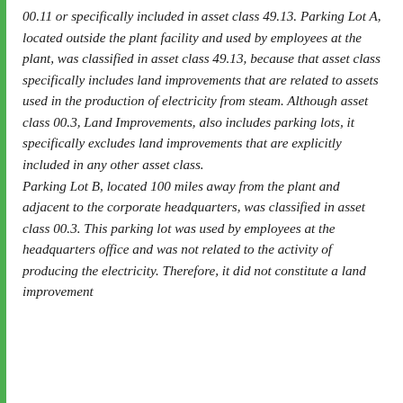00.11 or specifically included in asset class 49.13. Parking Lot A, located outside the plant facility and used by employees at the plant, was classified in asset class 49.13, because that asset class specifically includes land improvements that are related to assets used in the production of electricity from steam. Although asset class 00.3, Land Improvements, also includes parking lots, it specifically excludes land improvements that are explicitly included in any other asset class. Parking Lot B, located 100 miles away from the plant and adjacent to the corporate headquarters, was classified in asset class 00.3. This parking lot was used by employees at the headquarters office and was not related to the activity of producing the electricity. Therefore, it did not constitute a land improvement